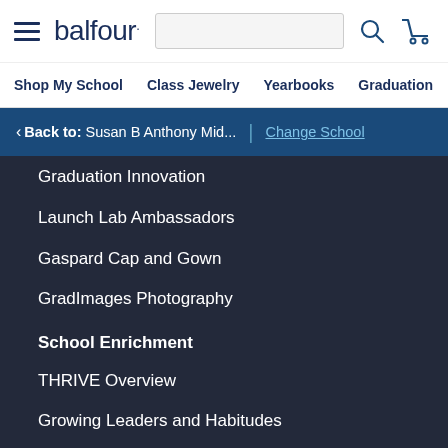balfour. | Shop My School | Class Jewelry | Yearbooks | Graduation | Sc
< Back to: Susan B Anthony Mid... | Change School
Graduation Innovation
Launch Lab Ambassadors
Gaspard Cap and Gown
GradImages Photography
School Enrichment
THRIVE Overview
Growing Leaders and Habitudes
Speaker Series
Balfour360 Branding